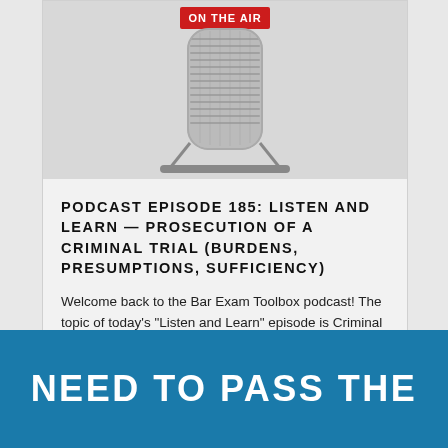[Figure (illustration): A vintage-style radio microphone with a red 'ON THE AIR' badge on top, silver/chrome mesh body, on a gray background]
PODCAST EPISODE 185: LISTEN AND LEARN — PROSECUTION OF A CRIMINAL TRIAL (BURDENS, PRESUMPTIONS, SUFFICIENCY)
Welcome back to the Bar Exam Toolbox podcast! The topic of today's "Listen and Learn" episode is Criminal Procedure. Specifically, we're talking about ... [READ MORE...]
NEED TO PASS THE